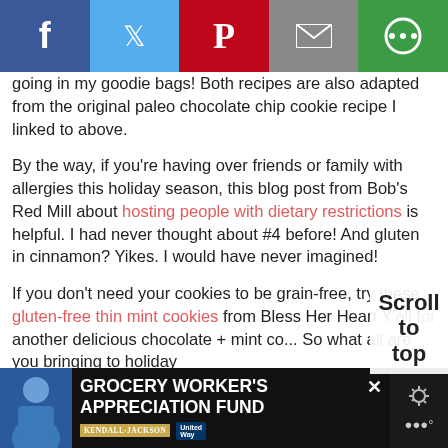[Figure (infographic): Social sharing bar with five buttons: Facebook (blue), Twitter (light blue), Pinterest (red), Email (grey), and another share option (green). Each shows a white icon.]
going in my goodie bags! Both recipes are also adapted from the original paleo chocolate chip cookie recipe I linked to above.
By the way, if you're having over friends or family with allergies this holiday season, this blog post from Bob's Red Mill about hosting people with dietary restrictions is helpful. I had never thought about #4 before! And gluten in cinnamon? Yikes. I would have never imagined!
If you don't need your cookies to be grain-free, try these gluten-free thin mint cookies from Bless Her Heart Y'all for another delicious chocolate + mint co... So what all are you bringing to holiday parties this year? I'd love...
[Figure (infographic): Advertisement banner for Grocery Worker's Appreciation Fund with Kendall-Jackson and United Way logos, a photo of a grocery worker, and a close button.]